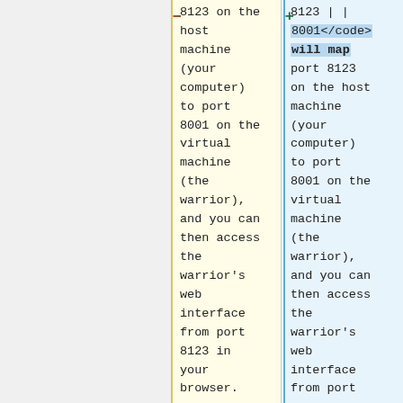8123 on the host machine (your computer) to port 8001 on the virtual machine (the warrior), and you can then access the warrior's web interface from port 8123 in your browser.
8123 | | 8001</code> will map port 8123 on the host machine (your computer) to port 8001 on the virtual machine (the warrior), and you can then access the warrior's web interface from port